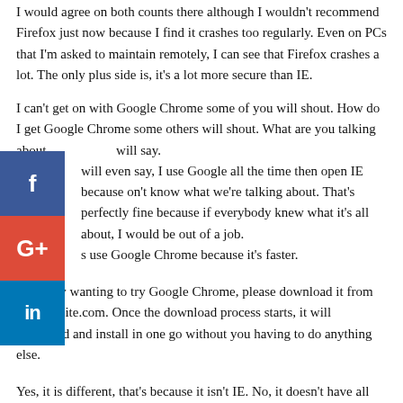I would agree on both counts there although I wouldn't recommend Firefox just now because I find it crashes too regularly. Even on PCs that I'm asked to maintain remotely, I can see that Firefox crashes a lot. The only plus side is, it's a lot more secure than IE.
I can't get on with Google Chrome some of you will shout. How do I get Google Chrome some others will shout. What are you talking about will say.
[Figure (illustration): Social share buttons: Facebook (blue), Google+ (red), LinkedIn (blue) stacked vertically on the left side of the page]
will even say, I use Google all the time then open IE because on't know what we're talking about. That's perfectly fine because if everybody knew what it's all about, I would be out of a job.
s use Google Chrome because it's faster.
Anybody wanting to try Google Chrome, please download it from www.ninite.com. Once the download process starts, it will download and install in one go without you having to do anything else.
Yes, it is different, that's because it isn't IE. No, it doesn't have all the cumbersome toolbars that get added to IE, because toolbars break